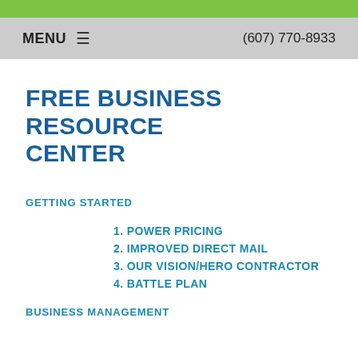MENU ≡   (607) 770-8933
FREE BUSINESS RESOURCE CENTER
GETTING STARTED
1. POWER PRICING
2. IMPROVED DIRECT MAIL
3. OUR VISION/HERO CONTRACTOR
4. BATTLE PLAN
BUSINESS MANAGEMENT